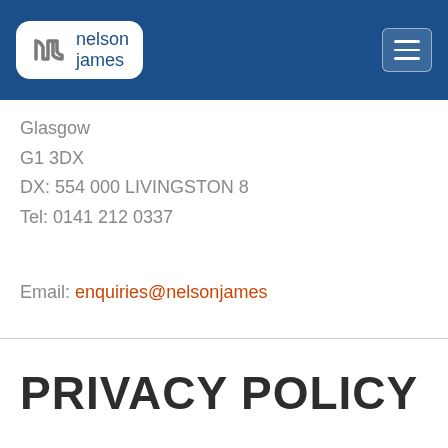nelson james
Glasgow
G1 3DX
DX: 554 000 LIVINGSTON 8
Tel: 0141 212 0337
Email: enquiries@nelsonjames
PRIVACY POLICY